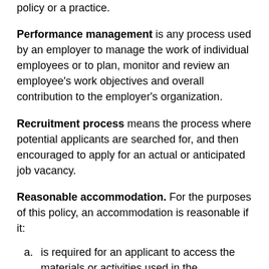policy or a practice.
Performance management is any process used by an employer to manage the work of individual employees or to plan, monitor and review an employee's work objectives and overall contribution to the employer's organization.
Recruitment process means the process where potential applicants are searched for, and then encouraged to apply for an actual or anticipated job vacancy.
Reasonable accommodation. For the purposes of this policy, an accommodation is reasonable if it:
a. is required for an applicant to access the materials or activities used in the assessment or selection process and would not result in undue hardship to the employer; or